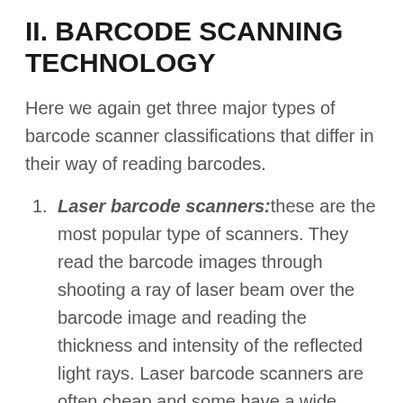II. BARCODE SCANNING TECHNOLOGY
Here we again get three major types of barcode scanner classifications that differ in their way of reading barcodes.
Laser barcode scanners: these are the most popular type of scanners. They read the barcode images through shooting a ray of laser beam over the barcode image and reading the thickness and intensity of the reflected light rays. Laser barcode scanners are often cheap and some have a wide range